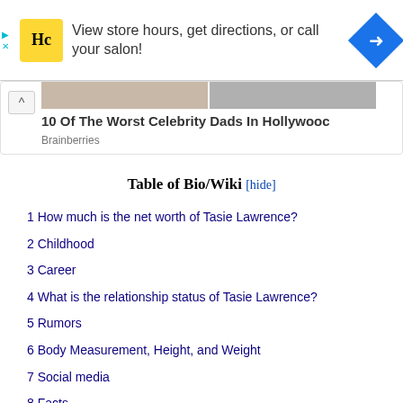[Figure (screenshot): Advertisement banner for Supercuts/HC salon chain with yellow HC logo, text 'View store hours, get directions, or call your salon!' and a blue navigation diamond icon on the right]
[Figure (screenshot): Collapsed content card showing partial celebrity photo strip and title '10 Of The Worst Celebrity Dads In Hollywood' with Brainberries source label]
Table of Bio/Wiki [hide]
1 How much is the net worth of Tasie Lawrence?
2 Childhood
3 Career
4 What is the relationship status of Tasie Lawrence?
5 Rumors
6 Body Measurement, Height, and Weight
7 Social media
8 Facts